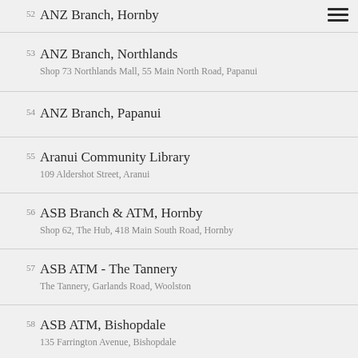52 ANZ Branch, Hornby
53 ANZ Branch, Northlands
Shop 73 Northlands Mall, 55 Main North Road, Papanui
54 ANZ Branch, Papanui
55 Aranui Community Library
109 Aldershot Street, Aranui
56 ASB Branch & ATM, Hornby
Shop 62, The Hub, 418 Main South Road, Hornby
57 ASB ATM - The Tannery
The Tannery, Garlands Road, Woolston
58 ASB ATM, Bishopdale
135 Farrington Avenue, Bishopdale